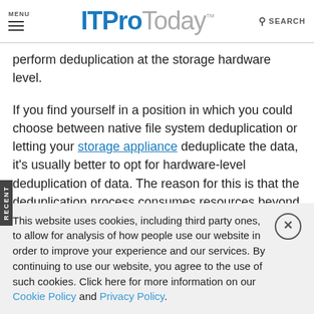MENU | ITProToday | SEARCH
perform deduplication at the storage hardware level.
If you find yourself in a position in which you could choose between native file system deduplication or letting your storage appliance deduplicate the data, it’s usually better to opt for hardware-level deduplication of data. The reason for this is that the deduplication process consumes resources beyond just storage IOPS. Memory and CPU cycles are also used. Offloading the deduplication process to storage hardware keeps your servers from having to waste CPU and memory
This website uses cookies, including third party ones, to allow for analysis of how people use our website in order to improve your experience and our services. By continuing to use our website, you agree to the use of such cookies. Click here for more information on our Cookie Policy and Privacy Policy.